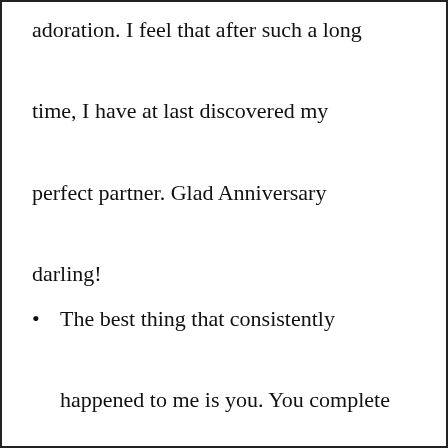adoration. I feel that after such a long time, I have at last discovered my perfect partner. Glad Anniversary darling!
The best thing that consistently happened to me is you. You complete me. Glad anniversary my dear spouse!
(Whatsapp Status for Anniversary)
You are my affection, old buddy, my